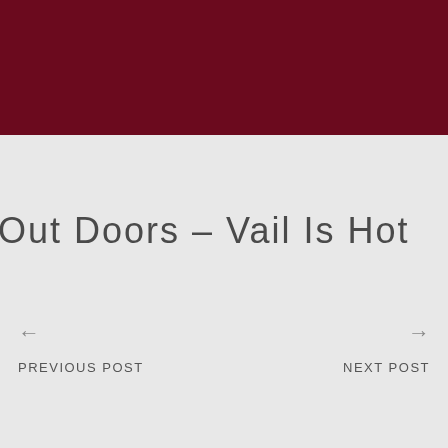[Figure (photo): Dark crimson/maroon colored banner image at the top of the page]
Out Doors – Vail Is Hot
← PREVIOUS POST
→ NEXT POST